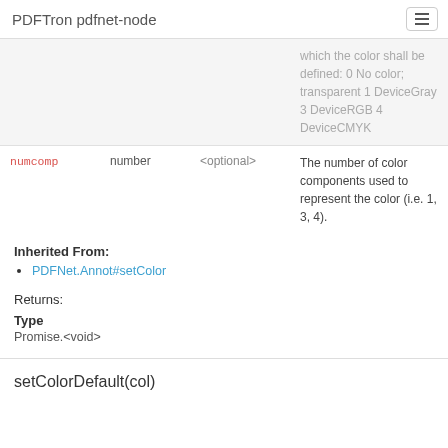PDFTron pdfnet-node
| param | type | optional | description |
| --- | --- | --- | --- |
|  |  |  | which the color shall be defined: 0 No color; transparent 1 DeviceGray 3 DeviceRGB 4 DeviceCMYK |
| numcomp | number | <optional> | The number of color components used to represent the color (i.e. 1, 3, 4). |
Inherited From:
PDFNet.Annot#setColor
Returns:
Type
Promise.<void>
setColorDefault(col)